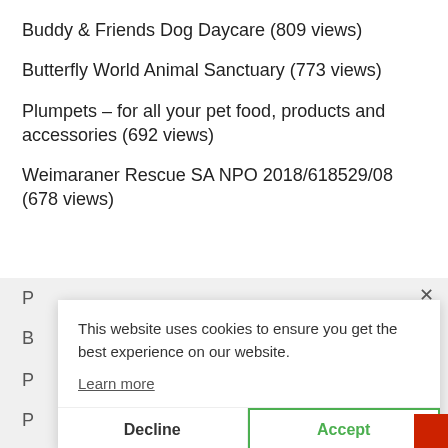Buddy & Friends Dog Daycare (809 views)
Butterfly World Animal Sanctuary (773 views)
Plumpets – for all your pet food, products and accessories (692 views)
Weimaraner Rescue SA NPO 2018/618529/08 (678 views)
[Figure (screenshot): Cookie consent banner overlay with message 'This website uses cookies to ensure you get the best experience on our website.' with Learn more link, Decline button, and Accept button with green border. Background shows blurred list items starting with letters P, B, P, P, P and partial (S text.]